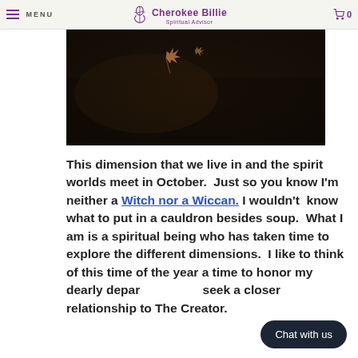MENU | Cherokee Billie Spiritual Advisor | 0
[Figure (photo): Dark photograph with autumn leaves, a maple leaf visible, dark background with warm tones]
This dimension that we live in and the spirit worlds meet in October.  Just so you know I'm neither a Witch nor a Wiccan.  I wouldn't  know what to put in a cauldron besides soup.  What I am is a spiritual being who has taken time to explore the different dimensions.  I like to think of this time of the year a time to honor my dearly depar seek a closer relationship to The Creator.
Chat with us